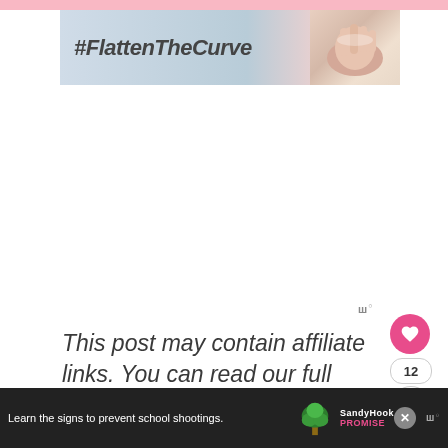[Figure (photo): Banner image with #FlattenTheCurve text on grey-blue background with hand washing photo on right side]
This post may contain affiliate links. You can read our full disclosure for more info.
[Figure (infographic): Advertisement bar at bottom: Learn the signs to prevent school shootings. Sandy Hook Promise logo with tree graphic. Close button and WW logo on right.]